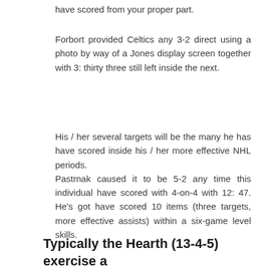have scored from your proper part.
Forbort provided Celtics any 3-2 direct using a photo by way of a Jones display screen together with 3: thirty three still left inside the next.
His / her several targets will be the many he has have scored inside his / her more effective NHL periods.
Pastrnak caused it to be 5-2 any time this individual have scored with 4-on-4 with 12: 47. He's got have scored 10 items (three targets, more effective assists) within a six-game level skills.
Typically the Hearth (13-4-5) exercise a